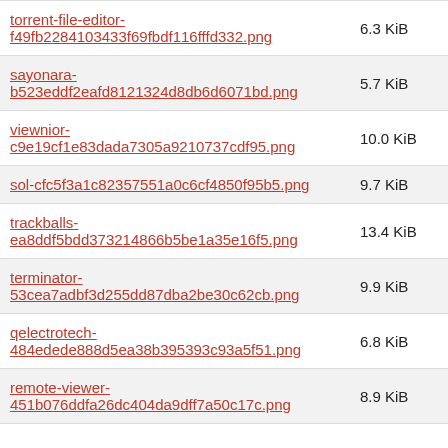torrent-file-editor-f49fb2284103433f69fbdf116fffd332.png
sayonara-b523eddf2eafd8121324d8db6d6071bd.png
viewnior-c9e19cf1e83dada7305a9210737cdf95.png
sol-cfc5f3a1c82357551a0c6cf4850f95b5.png
trackballs-ea8ddf5bdd373214866b5be1a35e16f5.png
terminator-53cea7adbf3d255dd87dba2be30c62cb.png
qelectrotech-484edede888d5ea38b395393c93a5f51.png
remote-viewer-451b076ddfa26dc404da9dff7a50c17c.png